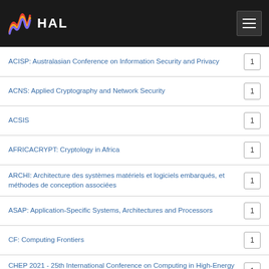HAL
ACISP: Australasian Conference on Information Security and Privacy 1
ACNS: Applied Cryptography and Network Security 1
ACSIS 1
AFRICACRYPT: Cryptology in Africa 1
ARCHI: Architecture des systèmes matériels et logiciels embarqués, et méthodes de conception associées 1
ASAP: Application-Specific Systems, Architectures and Processors 1
CF: Computing Frontiers 1
CHEP 2021 - 25th International Conference on Computing in High-Energy and Nuclear Physics 1
CSE: Computational Science and Engineering 1
CTAOptSim General Workshop 1